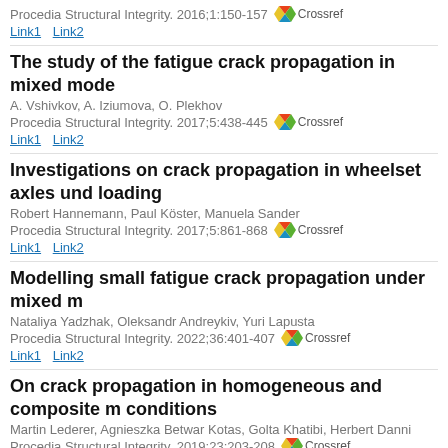Procedia Structural Integrity. 2016;1:150-157
Link1 Link2
The study of the fatigue crack propagation in mixed mode
A. Vshivkov, A. Iziumova, O. Plekhov
Procedia Structural Integrity. 2017;5:438-445
Link1 Link2
Investigations on crack propagation in wheelset axles under loading
Robert Hannemann, Paul Köster, Manuela Sander
Procedia Structural Integrity. 2017;5:861-868
Link1 Link2
Modelling small fatigue crack propagation under mixed m
Nataliya Yadzhak, Oleksandr Andreykiv, Yuri Lapusta
Procedia Structural Integrity. 2022;36:401-407
Link1 Link2
On crack propagation in homogeneous and composite m conditions
Martin Lederer, Agnieszka Betwar Kotas, Golta Khatibi, Herbert Danni
Procedia Structural Integrity. 2019;23:203-208
Link1 Link2